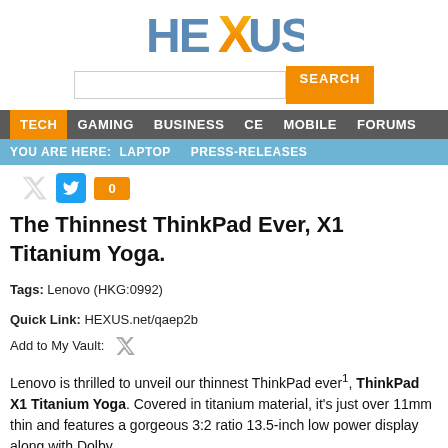[Figure (logo): HEXUS logo with orange X letter and blue/grey HE US letters]
TECH GAMING BUSINESS CE MOBILE FORUMS | YOU ARE HERE: LAPTOP PRESS-RELEASES
The Thinnest ThinkPad Ever, X1 Titanium Yoga.
Tags: Lenovo (HKG:0992)
Quick Link: HEXUS.net/qaep2b
Add to My Vault:
Lenovo is thrilled to unveil our thinnest ThinkPad ever1, ThinkPad X1 Titanium Yoga. Covered in titanium material, it's just over 11mm thin and features a gorgeous 3:2 ratio 13.5-inch low power display along with Dolby